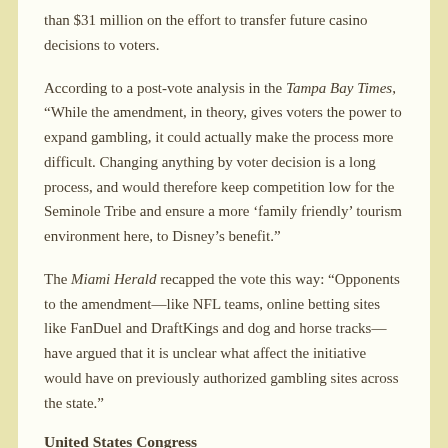than $31 million on the effort to transfer future casino decisions to voters.
According to a post-vote analysis in the Tampa Bay Times, "While the amendment, in theory, gives voters the power to expand gambling, it could actually make the process more difficult. Changing anything by voter decision is a long process, and would therefore keep competition low for the Seminole Tribe and ensure a more ‘family friendly’ tourism environment here, to Disney’s benefit."
The Miami Herald recapped the vote this way: “Opponents to the amendment—like NFL teams, online betting sites like FanDuel and DraftKings and dog and horse tracks—have argued that it is unclear what affect the initiative would have on previously authorized gambling sites across the state.”
United States Congress